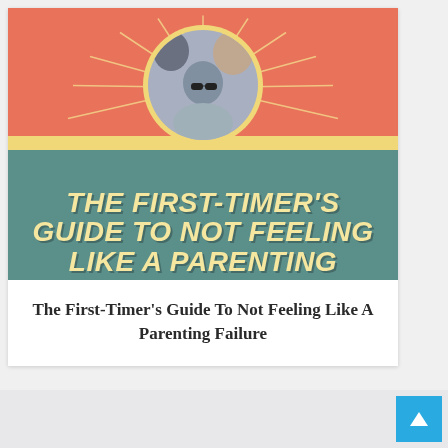[Figure (illustration): Book cover for 'The First-Timer's Guide To Not Feeling Like A Parenting Failure'. Coral/salmon background top half with a circular family photo (two adults and a child wearing sunglasses) framed with sunburst rays and a pale yellow ring. Teal-green background on the bottom half. Yellow banner strip across the middle. Large bold italic cream/yellow text reads: THE FIRST-TIMER'S GUIDE TO NOT FEELING LIKE A PARENTING]
The First-Timer's Guide To Not Feeling Like A Parenting Failure